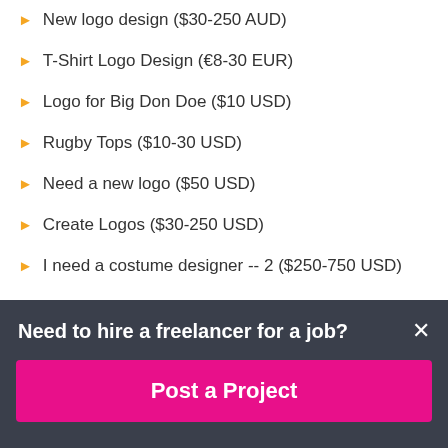New logo design ($30-250 AUD)
T-Shirt Logo Design (€8-30 EUR)
Logo for Big Don Doe ($10 USD)
Rugby Tops ($10-30 USD)
Need a new logo ($50 USD)
Create Logos ($30-250 USD)
I need a costume designer -- 2 ($250-750 USD)
I need a Wordpress Website Modeled After Another -- 2 ($250-750 USD)
Need to hire a freelancer for a job?
Post a Project